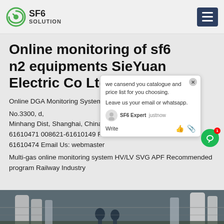SF6 SOLUTION
Online monitoring of sf6 n2 equipments SieYuan Electric Co Ltd
Online DGA Monitoring System... m... Next Contact us Address: No.3300, ...d, Minhang Dist, Shanghai, China Tel: 61610471 008621-61610149 Fax: 008621-61610474 Email Us: webmaster
Multi-gas online monitoring system HV/LV SVG APF Recommended program Railway Industry
[Figure (photo): Industrial facility with workers and large cylindrical tanks/equipment, bottom strip image]